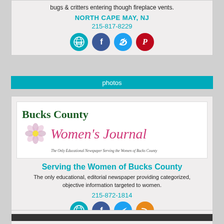bugs & critters entering though fireplace vents.
NORTH CAPE MAY, NJ
215-817-8229
[Figure (infographic): Social media icon buttons: web (teal), Facebook (blue), Twitter (light blue), Pinterest (red)]
photos
[Figure (logo): Bucks County Women's Journal logo — green serif 'Bucks County' above pink italic cursive "Women's Journal" with floral illustration and italic tagline: The Only Educational Newspaper Serving the Women of Bucks County]
Serving the Women of Bucks County
The only educational, editorial newspaper providing categorized, objective information targeted to women.
215-872-1814
[Figure (infographic): Social media icon buttons: web (teal), Facebook (blue), Twitter (light blue), RSS (orange)]